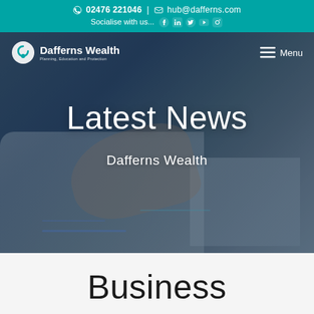02476 221046 | hub@dafferns.com | Socialise with us...
[Figure (screenshot): Dafferns Wealth website hero banner showing 'Latest News' over a blurred business desk photo with hands and documents, with logo and Menu nav bar]
Latest News
Dafferns Wealth
Business